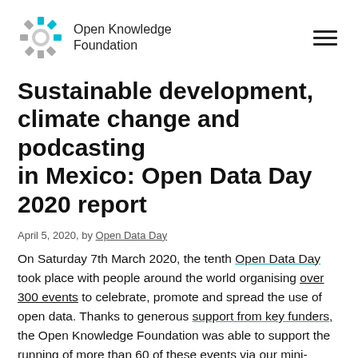Open Knowledge Foundation
Sustainable development, climate change and podcasting in Mexico: Open Data Day 2020 report
April 5, 2020, by Open Data Day
On Saturday 7th March 2020, the tenth Open Data Day took place with people around the world organising over 300 events to celebrate, promote and spread the use of open data. Thanks to generous support from key funders, the Open Knowledge Foundation was able to support the running of more than 60 of these events via our mini-